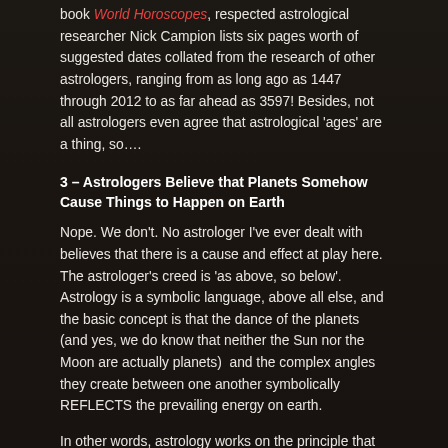book World Horoscopes, respected astrological researcher Nick Campion lists six pages worth of suggested dates collated from the research of other astrologers, ranging from as long ago as 1447 through 2012 to as far ahead as 3597! Besides, not all astrologers even agree that astrological 'ages' are a thing, so….
3 – Astrologers Believe that Planets Somehow Cause Things to Happen on Earth
Nope. We don't. No astrologer I've ever dealt with believes that there is a cause and effect at play here. The astrologer's creed is 'as above, so below'. Astrology is a symbolic language, above all else, and the basic concept is that the dance of the planets (and yes, we do know that neither the Sun nor the Moon are actually planets)  and the complex angles they create between one another symbolically REFLECTS the prevailing energy on earth.
In other words, astrology works on the principle that there is a relationship between celestial events and events on earth, but it is not a cause and effect relationship. Nothing